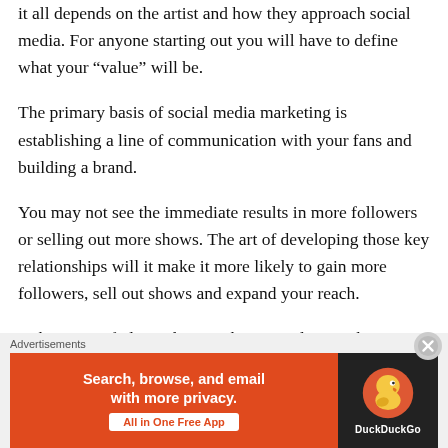it all depends on the artist and how they approach social media. For anyone starting out you will have to define what your “value” will be.
The primary basis of social media marketing is establishing a line of communication with your fans and building a brand.
You may not see the immediate results in more followers or selling out more shows. The art of developing those key relationships will it make it more likely to gain more followers, sell out shows and expand your reach.
Mike More of plagood says asking people to make a purchase is probably the least effective approach.
[Figure (other): DuckDuckGo advertisement banner: 'Search, browse, and email with more privacy. All in One Free App' with DuckDuckGo duck logo on dark background, orange background on text side.]